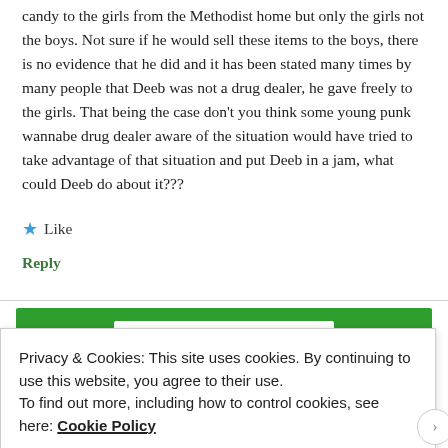candy to the girls from the Methodist home but only the girls not the boys. Not sure if he would sell these items to the boys, there is no evidence that he did and it has been stated many times by many people that Deeb was not a drug dealer, he gave freely to the girls. That being the case don't you think some young punk wannabe drug dealer aware of the situation would have tried to take advantage of that situation and put Deeb in a jam, what could Deeb do about it???
★ Like
Reply
[Figure (screenshot): Green banner with white rectangular element inside, partially visible at bottom of page]
Privacy & Cookies: This site uses cookies. By continuing to use this website, you agree to their use.
To find out more, including how to control cookies, see here: Cookie Policy
Close and accept